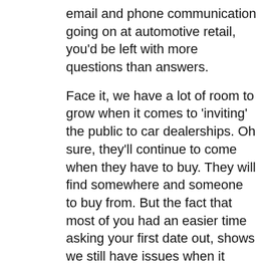email and phone communication going on at automotive retail, you'd be left with more questions than answers.
Face it, we have a lot of room to grow when it comes to 'inviting' the public to car dealerships. Oh sure, they'll continue to come when they have to buy. They will find somewhere and someone to buy from. But the fact that most of you had an easier time asking your first date out, shows we still have issues when it comes to how to engage a person that wants to buy!
Many people shrug off their verbal and written skills when they can deliver a fair amount of cars each month. When loan times...